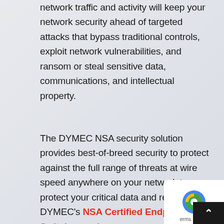network traffic and activity will keep your network security ahead of targeted attacks that bypass traditional controls, exploit network vulnerabilities, and ransom or steal sensitive data, communications, and intellectual property.
The DYMEC NSA security solution provides best-of-breed security to protect against the full range of threats at wire speed anywhere on your network to protect your critical data and reputation. DYMEC's NSA Certified Endpoint Switches and